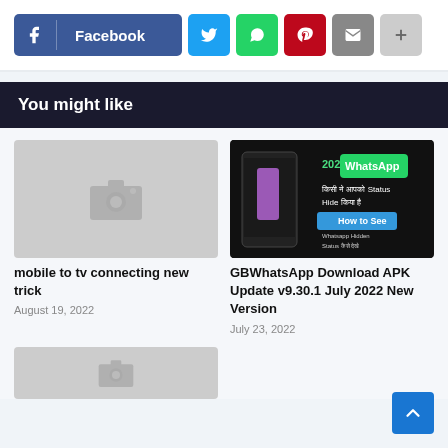[Figure (infographic): Social share buttons: Facebook, Twitter, WhatsApp, Pinterest, Email, More]
You might like
[Figure (photo): Gray placeholder image with camera icon]
mobile to tv connecting new trick
August 19, 2022
[Figure (screenshot): WhatsApp 2022 thumbnail showing how to see hidden status]
GBWhatsApp Download APK Update v9.30.1 July 2022 New Version
July 23, 2022
[Figure (photo): Gray placeholder image with camera icon (bottom row)]